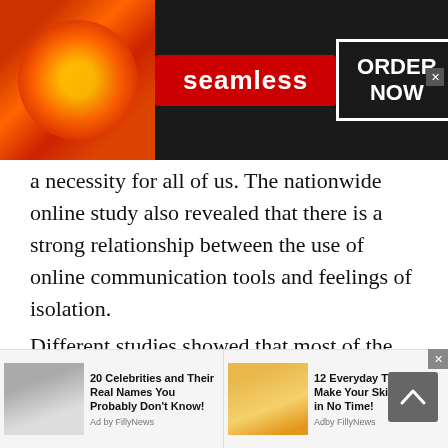[Figure (screenshot): Seamless food delivery advertisement banner with pizza image on left, red Seamless logo in center, and ORDER NOW button in white bordered box on dark background]
a necessity for all of us. The nationwide online study also revealed that there is a strong relationship between the use of online communication tools and feelings of isolation.
Different studies showed that most of the respondents turned to online chat apps. Because they feel connected to others as they were restricted to meet friends and family. Whether you live in Chad, China, India, Canada, USA, UK, talk to
[Figure (screenshot): Bottom advertisement banner with two ad items: left shows '20 Celebrities and Their Real Names You Probably Don't Know! Ad by FillyNews' with a celebrity photo, right shows '12 Everyday Things To Make Your Skin Prettier in No Time! Adby FillyNews' with a skincare photo]